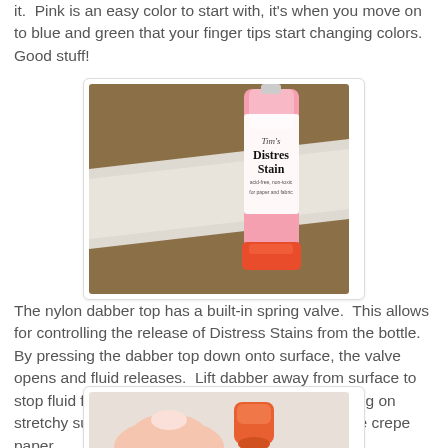it.  Pink is an easy color to start with, it's when you move on to blue and green that your finger tips start changing colors.  Good stuff!
[Figure (photo): A strip of white crepe paper lying on a brown surface next to a pink bottle of Distress Stain with a red/orange cap.]
The nylon dabber top has a built-in spring valve.  This allows for controlling the release of Distress Stains from the bottle.  By pressing the dabber top down onto surface, the valve opens and fluid releases.  Lift dabber away from surface to stop fluid flow.  It's that easy.  So, since I am working on stretchy surface I kinda 'pounced' my way down the crepe paper.
[Figure (photo): Close-up of a hand holding an orange dabber top of a Distress Stain bottle against a light background.]